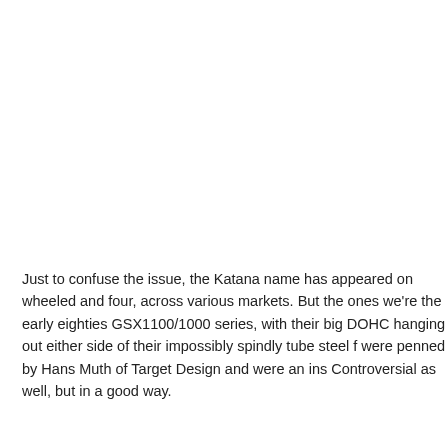Just to confuse the issue, the Katana name has appeared on wheeled and four, across various markets. But the ones we're the early eighties GSX1100/1000 series, with their big DOHC hanging out either side of their impossibly spindly tube steel f were penned by Hans Muth of Target Design and were an ins Controversial as well, but in a good way.